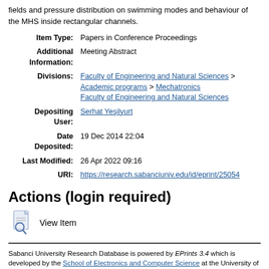fields and pressure distribution on swimming modes and behaviour of the MHS inside rectangular channels.
| Item Type: | Papers in Conference Proceedings |
| Additional Information: | Meeting Abstract |
| Divisions: | Faculty of Engineering and Natural Sciences > Academic programs > Mechatronics
Faculty of Engineering and Natural Sciences |
| Depositing User: | Serhat Yeşilyurt |
| Date Deposited: | 19 Dec 2014 22:04 |
| Last Modified: | 26 Apr 2022 09:16 |
| URI: | https://research.sabanciuniv.edu/id/eprint/25054 |
Actions (login required)
[Figure (illustration): Document/view item icon with magnifying glass]
View Item
Sabanci University Research Database is powered by EPrints 3.4 which is developed by the School of Electronics and Computer Science at the University of Southampton. About EPrints | Accessibility